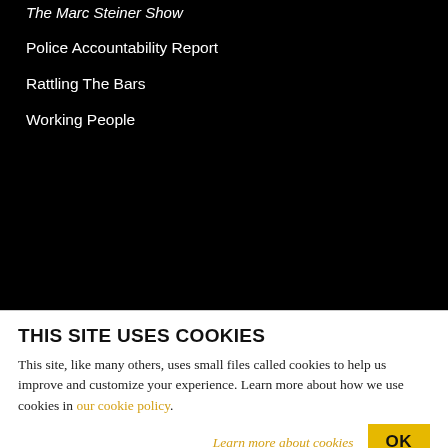The Marc Steiner Show
Police Accountability Report
Rattling The Bars
Working People
CONTACT US
IWT - The Real News Network
231 N. Holliday St.
Baltimore, MD 21202
USA
THIS SITE USES COOKIES
This site, like many others, uses small files called cookies to help us improve and customize your experience. Learn more about how we use cookies in our cookie policy.
Learn more about cookies
OK